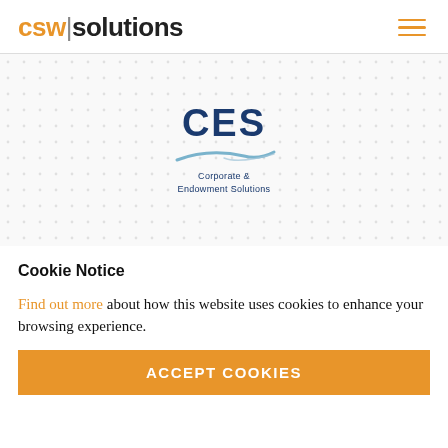csw|solutions
[Figure (logo): CES Corporate & Endowment Solutions logo with blue text and grey swoosh graphic on a dotted background]
Cookie Notice
Find out more about how this website uses cookies to enhance your browsing experience.
ACCEPT COOKIES